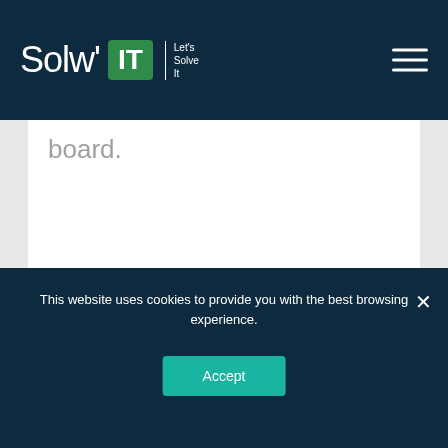[Figure (logo): Solw'IT logo with green IT box and Let's Solve It tagline on dark navy background, with hamburger menu icon on the right]
board.
This website uses cookies to provide you with the best browsing experience.
Accept